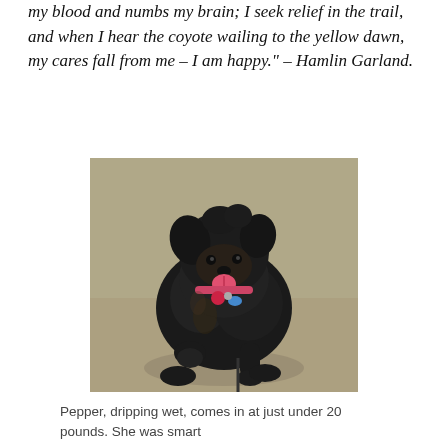my blood and numbs my brain; I seek relief in the trail, and when I hear the coyote wailing to the yellow dawn, my cares fall from me – I am happy." – Hamlin Garland.
[Figure (photo): A small black scruffy dog (Pepper) sitting on a gravel surface, panting with tongue out, wearing a red tag and blue bone-shaped tag on collar, with a leash visible.]
Pepper, dripping wet, comes in at just under 20 pounds. She was smart